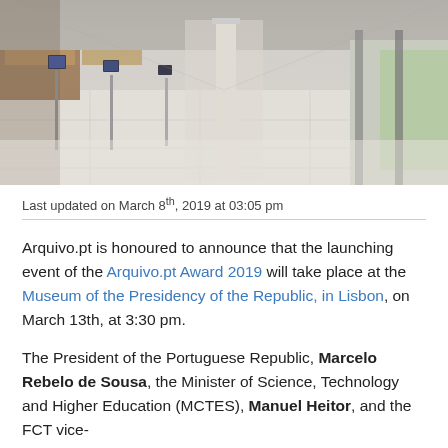[Figure (photo): Interior of a modern museum corridor with tablet kiosks on stands along the left wall, white marble floor, columns, and green-lit areas in the background]
Last updated on March 8th, 2019 at 03:05 pm
Arquivo.pt is honoured to announce that the launching event of the Arquivo.pt Award 2019 will take place at the Museum of the Presidency of the Republic, in Lisbon, on March 13th, at 3:30 pm.
The President of the Portuguese Republic, Marcelo Rebelo de Sousa, the Minister of Science, Technology and Higher Education (MCTES), Manuel Heitor, and the FCT vice-